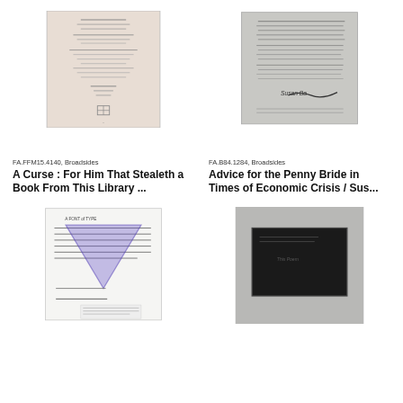[Figure (photo): Scanned broadside document with printed text, pinkish/beige background, small decorative printer's mark at bottom]
FA.FFM15.4140, Broadsides
A Curse : For Him That Stealeth a Book From This Library ...
[Figure (photo): Scanned broadside document with handwritten signature 'Susan Baj-Watt' at bottom, gray background]
FA.B84.1284, Broadsides
Advice for the Penny Bride in Times of Economic Crisis / Sus...
[Figure (photo): Scanned document with text and large blue/purple V-shape stamp overlay, white background]
[Figure (photo): Scanned dark/black rectangle card or envelope on gray background with handwritten text]